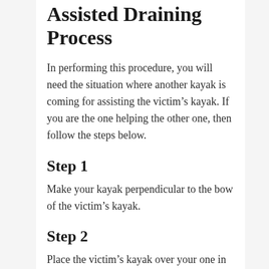Assisted Draining Process
In performing this procedure, you will need the situation where another kayak is coming for assisting the victim’s kayak. If you are the one helping the other one, then follow the steps below.
Step 1
Make your kayak perpendicular to the bow of the victim’s kayak.
Step 2
Place the victim’s kayak over your one in such a higher position that it